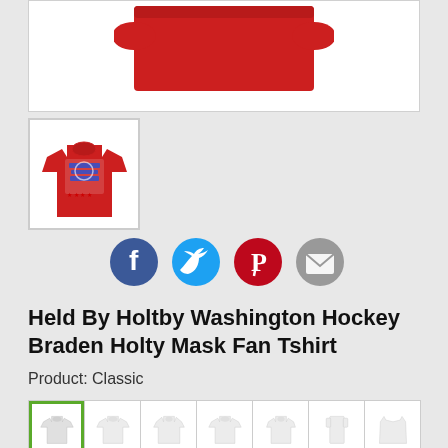[Figure (photo): Red t-shirt product image (cropped, showing bottom of shirt)]
[Figure (photo): Thumbnail of red Held By Holtby Washington Hockey t-shirt with graphic print]
[Figure (infographic): Social sharing icons: Facebook (blue), Twitter (blue), Pinterest (red), Email (grey)]
Held By Holtby Washington Hockey Braden Holty Mask Fan Tshirt
Product: Classic
[Figure (screenshot): Grid of apparel product type options showing various shirt styles, with the first (classic t-shirt) selected with green border]